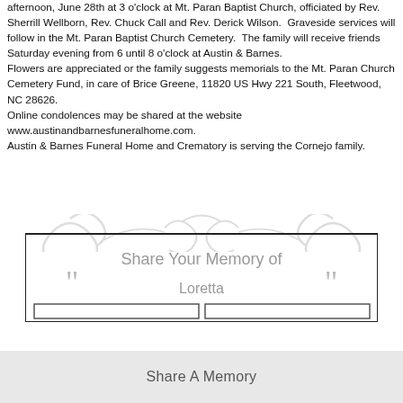afternoon, June 28th at 3 o'clock at Mt. Paran Baptist Church, officiated by Rev. Sherrill Wellborn, Rev. Chuck Call and Rev. Derick Wilson. Graveside services will follow in the Mt. Paran Baptist Church Cemetery. The family will receive friends Saturday evening from 6 until 8 o'clock at Austin & Barnes. Flowers are appreciated or the family suggests memorials to the Mt. Paran Church Cemetery Fund, in care of Brice Greene, 11820 US Hwy 221 South, Fleetwood, NC 28626. Online condolences may be shared at the website www.austinandbarnesfuneralhome.com. Austin & Barnes Funeral Home and Crematory is serving the Cornejo family.
[Figure (illustration): Decorative ornamental flourish background with swirling gray scrollwork design, behind a bordered box with 'Share Your Memory of Loretta' text and quote marks.]
Share Your Memory of Loretta
Share A Memory